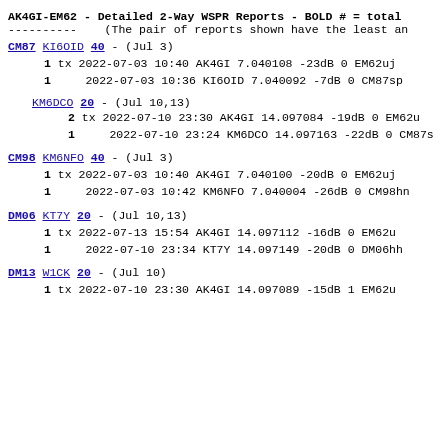AK4GI-EM62 - Detailed 2-Way WSPR Reports - BOLD # = total
---------- (The pair of reports shown have the least an
CM87 KI6OID 40 - (Jul 3)
1 tx 2022-07-03 10:40 AK4GI 7.040108 -23dB 0 EM62uj
1    2022-07-03 10:36 KI6OID 7.040092 -7dB 0 CM87sp
KM6DCO 20 - (Jul 10,13)
2 tx 2022-07-10 23:30 AK4GI 14.097084 -19dB 0 EM62u
1    2022-07-10 23:24 KM6DCO 14.097163 -22dB 0 CM87s
CM98 KM6NFO 40 - (Jul 3)
1 tx 2022-07-03 10:40 AK4GI 7.040100 -20dB 0 EM62uj
1    2022-07-03 10:42 KM6NFO 7.040004 -26dB 0 CM98hn
DM06 KT7Y 20 - (Jul 10,13)
1 tx 2022-07-13 15:54 AK4GI 14.097112 -16dB 0 EM62u
1    2022-07-10 23:34 KT7Y 14.097149 -20dB 0 DM06hh
DM13 W1CK 20 - (Jul 10)
1 tx 2022-07-10 23:30 AK4GI 14.097089 -15dB 1 EM62u